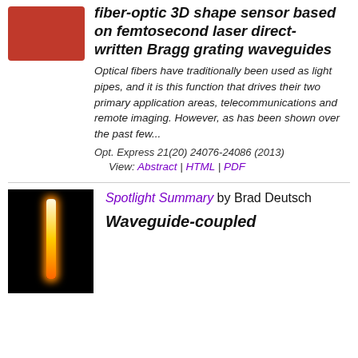[Figure (photo): Red/orange thumbnail image of fiber optic shape sensor]
fiber-optic 3D shape sensor based on femtosecond laser direct-written Bragg grating waveguides
Optical fibers have traditionally been used as light pipes, and it is this function that drives their two primary application areas, telecommunications and remote imaging. However, as has been shown over the past few...
Opt. Express 21(20) 24076-24086 (2013)
View: Abstract | HTML | PDF
[Figure (photo): Dark background with a vertical glowing orange/yellow flame-like bar — fiber waveguide optical output image]
Spotlight Summary by Brad Deutsch
Waveguide-coupled